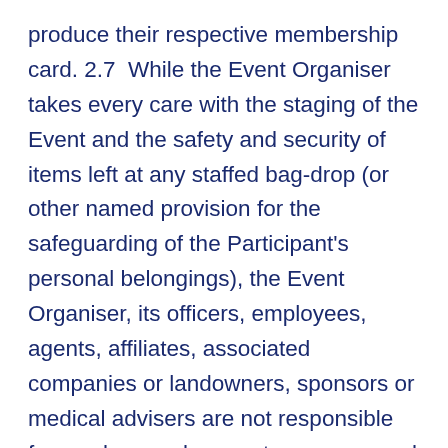produce their respective membership card. 2.7 While the Event Organiser takes every care with the staging of the Event and the safety and security of items left at any staffed bag-drop (or other named provision for the safeguarding of the Participant's personal belongings), the Event Organiser, its officers, employees, agents, affiliates, associated companies or landowners, sponsors or medical advisers are not responsible for any loss or damage to any personal items as a result of the use of this service by the Participant. 2.8    The maximum distances for: 2.8.1    a UKA licensed road race competition are set out below and further clarified in the UKA Rules for Competition, and are based on